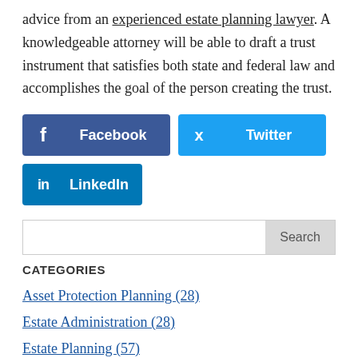advice from an experienced estate planning lawyer. A knowledgeable attorney will be able to draft a trust instrument that satisfies both state and federal law and accomplishes the goal of the person creating the trust.
[Figure (infographic): Social sharing buttons: Facebook (dark blue), Twitter (light blue), LinkedIn (blue)]
Search
CATEGORIES
Asset Protection Planning (28)
Estate Administration (28)
Estate Planning (57)